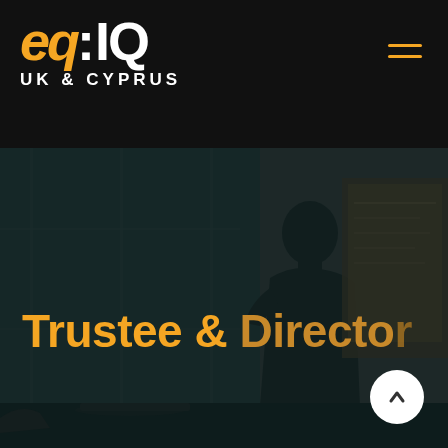[Figure (logo): eq:IQ UK & CYPRUS logo in white and orange on black header bar]
[Figure (photo): Dark hero section showing a person silhouetted in a meeting room environment with a whiteboard, teal/dark toned overlay]
Trustee & Director